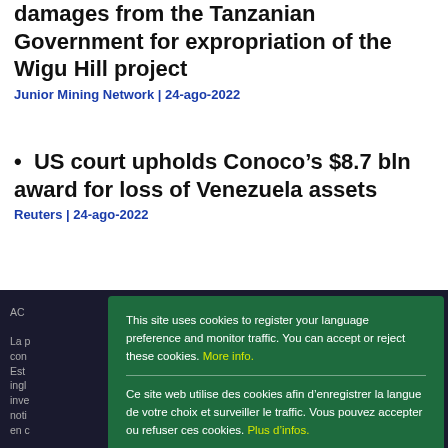damages from the Tanzanian Government for expropriation of the Wigu Hill project
Junior Mining Network | 24-ago-2022
US court upholds Conoco's $8.7 bln award for loss of Venezuela assets
Reuters | 24-ago-2022
[Figure (screenshot): Cookie consent modal overlay on green background with English, French, and Spanish cookie notices and an Ok button]
This site uses cookies to register your language preference and monitor traffic. You can accept or reject these cookies. More info.
Ce site web utilise des cookies afin d'enregistrer la langue de votre choix et surveiller le traffic. Vous pouvez accepter ou refuser ces cookies. Plus d'infos.
Este sitio web utiliza cookies con el objetivo de registrar su idioma preferido y controlar el tráfico. Puede aceptar o rechazar estas cookies. Mayor información.